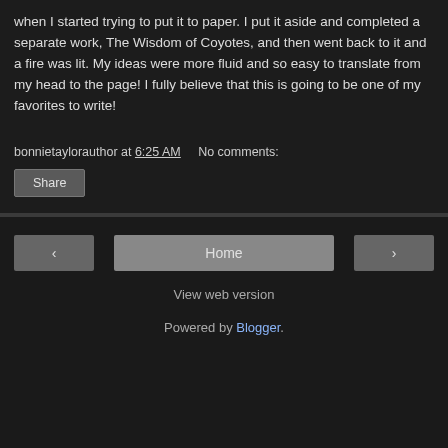when I started trying to put it to paper. I put it aside and completed a separate work, The Wisdom of Coyotes, and then went back to it and a fire was lit. My ideas were more fluid and so easy to translate from my head to the page! I fully believe that this is going to be one of my favorites to write!
bonnietaylorauthor at 6:25 AM    No comments:
Share
◄  Home  ►  View web version  Powered by Blogger.